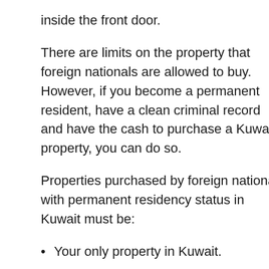inside the front door.
There are limits on the property that foreign nationals are allowed to buy. However, if you become a permanent resident, have a clean criminal record and have the cash to purchase a Kuwaiti property, you can do so.
Properties purchased by foreign nationals with permanent residency status in Kuwait must be:
Your only property in Kuwait.
No larger than 1,000 square metres.
Used only as a home.
Many expats rent properties or purchase through...